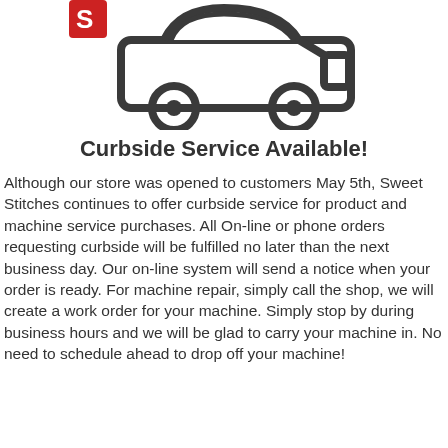[Figure (illustration): A car/SUV icon in dark gray outline style, partially visible at the top of the page, with a small red logo/icon partially visible at the top-left corner.]
Curbside Service Available!
Although our store was opened to customers May 5th, Sweet Stitches continues to offer curbside service for product and machine service purchases. All On-line or phone orders requesting curbside will be fulfilled no later than the next business day. Our on-line system will send a notice when your order is ready. For machine repair, simply call the shop, we will create a work order for your machine. Simply stop by during business hours and we will be glad to carry your machine in. No need to schedule ahead to drop off your machine!